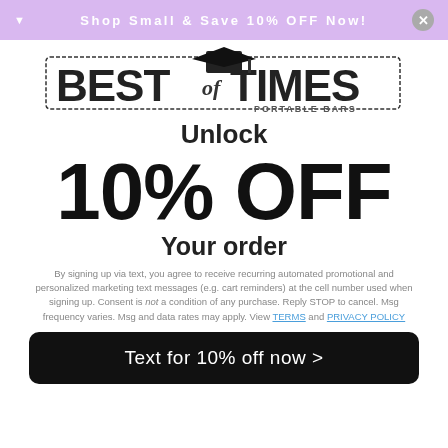Shop Small & Save 10% OFF Now!
[Figure (logo): Best of Times Portable Bars logo with graduation cap icon]
Unlock
10% OFF
Your order
By signing up via text, you agree to receive recurring automated promotional and personalized marketing text messages (e.g. cart reminders) at the cell number used when signing up. Consent is not a condition of any purchase. Reply STOP to cancel. Msg frequency varies. Msg and data rates may apply. View TERMS and PRIVACY POLICY
Text for 10% off now >